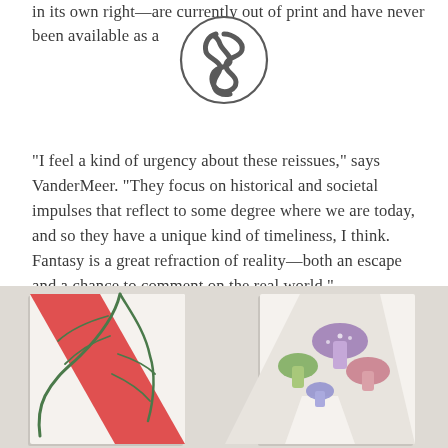in its own right—are currently out of print and have never been available as a [logo]
[Figure (logo): Circular logo with a snake or worm illustration in dark ink on white background with circular border]
“I feel a kind of urgency about these reissues,” says VanderMeer. “They focus on historical and societal impulses that reflect to some degree where we are today, and so they have a unique kind of timeliness, I think. Fantasy is a great refraction of reality—both an escape and a chance to comment on the real world.”
[Figure (photo): Two book covers displayed side by side against a light beige/grey background. Left book shows a red V-shape with a tropical palm frond illustration. Right book shows a letter A shape with colorful mushroom illustrations.]